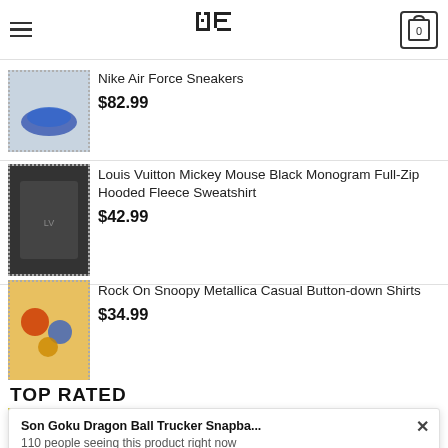Navigation bar with hamburger menu, logo, and cart icon showing 0
$29.99
Toronto Maple Leafs Mascot Logo NHL Hockey
Nike Air Force Sneakers
$82.99
Louis Vuitton Mickey Mouse Black Monogram Full-Zip Hooded Fleece Sweatshirt
$42.99
Rock On Snoopy Metallica Casual Button-down Shirts
$34.99
TOP RATED
[Figure (photo): Product thumbnail of a Son Goku Dragon Ball Trucker Snapback cap]
Son Goku Dragon Ball Trucker Snapba...
110 people seeing this product right now